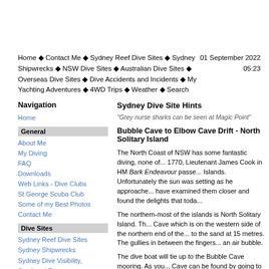Home ◆ Contact Me ◆ Sydney Reef Dive Sites ◆ Sydney Shipwrecks ◆ NSW Dive Sites ◆ Australian Dive Sites ◆ Overseas Dive Sites ◆ Dive Accidents and Incidents ◆ My Yachting Adventures ◆ 4WD Trips ◆ Weather ◆ Search
01 September 2022 05:23
Navigation
Home
General
About Me
My Diving
FAQ
Downloads
Web Links - Dive Clubs
St George Scuba Club
Some of my Best Photos
Contact Me
Dive Sites
Sydney Reef Dive Sites
Sydney Shipwrecks
Sydney Dive Visibility, Swell and Temps
Kelly Talking on ABC Sydney about Shipwrecks
NSW Dive Sites
Sydney Shipwreck Summary
NSW Shipwreck GPS/Marks
Sydney Dive Site Hints
"Grey nurse sharks can be seen at Magic Point"
Bubble Cave to Elbow Cave Drift - North Solitary Island
The North Coast of NSW has some fantastic diving, none of... 1770, Lieutenant James Cook in HM Bark Endeavour passe... Islands. Unfortunately the sun was setting as he approache... have examined them closer and found the delights that toda...
The northern-most of the islands is North Solitary Island. Th... Cave which is on the western side of the northern end of the... to the sand at 15 metres. The gullies in between the fingers... an air bubble.
The dive boat will tie up to the Bubble Cave mooring. As you... Cave can be found by going to the north-west from the moo... gutter. The bottom as you get closer to the cave is compose... metres on a slope up to about five metres at the entrance. T... whole entrance to the cave can be blocked by fish and ever... about four metres and it slopes up to perhaps three metres... in the cave, mostly on the walls and top of the cave.